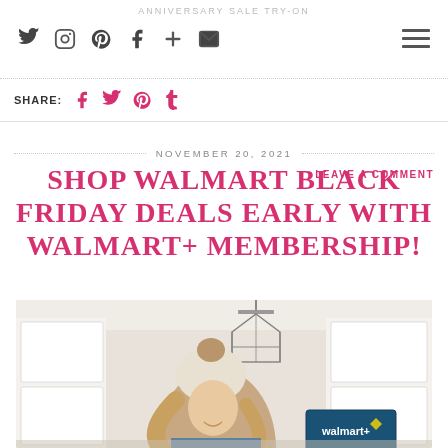ANNIVERSARY SALE TRY-ON
SHARE: [social icons] LEAVE A COMMENT
NOVEMBER 20, 2021
SHOP WALMART BLACK FRIDAY DEALS EARLY WITH WALMART+ MEMBERSHIP!
[Figure (photo): Woman in a cream knit pom beanie holding a Walmart box in a kitchen with white cabinets and a geometric pendant light]